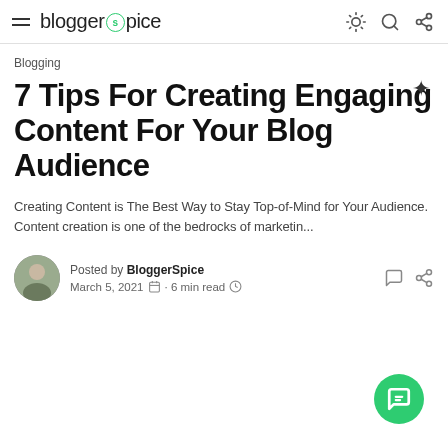blogger spice
Blogging
7 Tips For Creating Engaging Content For Your Blog Audience
Creating Content is The Best Way to Stay Top-of-Mind for Your Audience. Content creation is one of the bedrocks of marketin...
Posted by BloggerSpice
March 5, 2021 · 6 min read